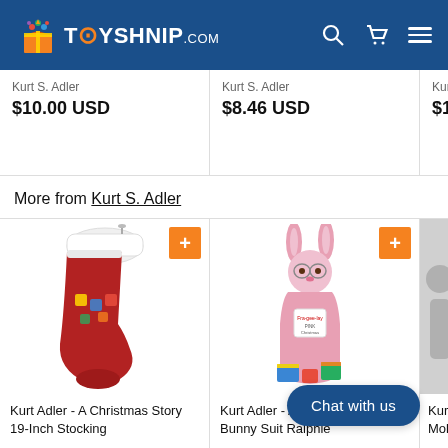TOYSHNIP.COM
Kurt S. Adler
$10.00 USD
Kurt S. Adler
$8.46 USD
Kurt S. Ad...
$10.60...
More from Kurt S. Adler
[Figure (photo): Kurt Adler - A Christmas Story 19-Inch Stocking product image]
Kurt Adler - A Christmas Story 19-Inch Stocking
[Figure (photo): Kurt Adler - A Christmas Story Bunny Suit Ralphie product image]
Kurt Adler - A Christmas Story Bunny Suit Ralphie
[Figure (photo): Kurt Adl... Mold T-... partial product image]
Kurt Adl... Mold T-...
Chat with us